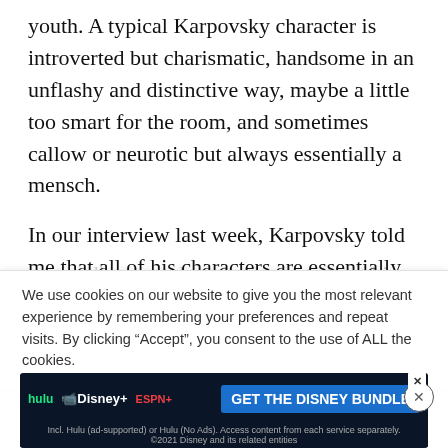youth. A typical Karpovsky character is introverted but charismatic, handsome in an unflashy and distinctive way, maybe a little too smart for the room, and sometimes callow or neurotic but always essentially a mensch.
In our interview last week, Karpovsky told me that all of his characters are essentially “amplifications” of parts of himself. Sure enough, he comes off as articulate, wryly funny, and wary of self-
We use cookies on our website to give you the most relevant experience by remembering your preferences and repeat visits. By clicking “Accept”, you consent to the use of ALL the cookies.
[Figure (other): Disney Bundle advertisement banner showing Hulu, Disney+, and ESPN+ logos with 'GET THE DISNEY BUNDLE' call-to-action button and fine print text.]